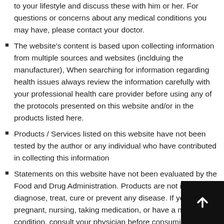to your lifestyle and discuss these with him or her. For questions or concerns about any medical conditions you may have, please contact your doctor.
The website's content is based upon collecting information from multiple sources and websites (inclduing the manufacturer), When searching for information regarding health issues always review the information carefully with your professional health care provider before using any of the protocols presented on this website and/or in the products listed here.
Products / Services listed on this website have not been tested by the author or any individual who have contributed in collecting this information
Statements on this website have not been evaluated by the Food and Drug Administration. Products are not intended to diagnose, treat, cure or prevent any disease. If you are pregnant, nursing, taking medication, or have a medical condition, consult your physician before consuming any supplement.